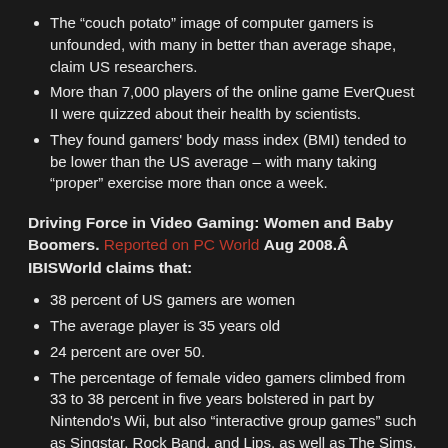The “couch potato” image of computer gamers is unfounded, with many in better than average shape, claim US researchers.
More than 7,000 players of the online game EverQuest II were quizzed about their health by scientists.
They found gamers' body mass index (BMI) tended to be lower than the US average – with many taking “proper” exercise more than once a week.
Driving Force in Video Gaming: Women and Baby Boomers. Reported on PC World Aug 2008.Â  IBISWorld claims that:
38 percent of US gamers are women
The average player is 35 years old
24 percent are over 50.
The percentage of female video gamers climbed from 33 to 38 percent in five years bolstered in part by Nintendo's Wii, but also “interactive group games” such as Singstar, Rock Band, and Lips, as well as The Sims, The Movies,